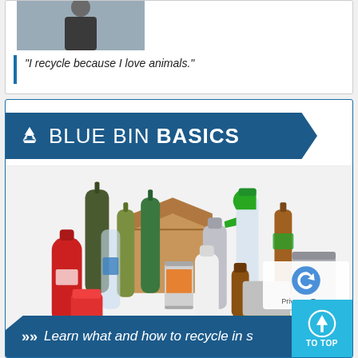"I recycle because I love animals."
[Figure (infographic): Blue Bin Basics infographic showing recyclable items including bottles, cans, cardboard, and containers with text 'Learn what and how to recycle in...']
Learn what and how to recycle in s